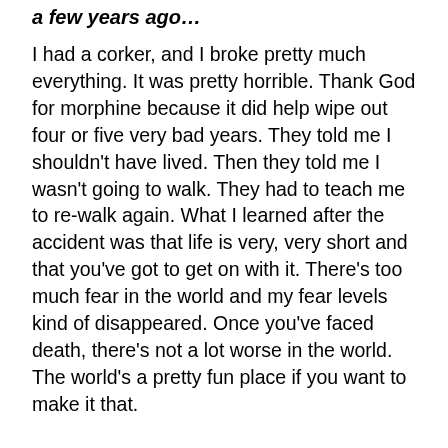a few years ago…
I had a corker, and I broke pretty much everything. It was pretty horrible. Thank God for morphine because it did help wipe out four or five very bad years. They told me I shouldn't have lived. Then they told me I wasn't going to walk. They had to teach me to re-walk again. What I learned after the accident was that life is very, very short and that you've got to get on with it. There's too much fear in the world and my fear levels kind of disappeared. Once you've faced death, there's not a lot worse in the world. The world's a pretty fun place if you want to make it that.
'Priscilla, Queen of the Desert: The Musical' is on at Crown Theatre in Burswood until Sunday 30 May, 2021.
Tickets can be purchased at